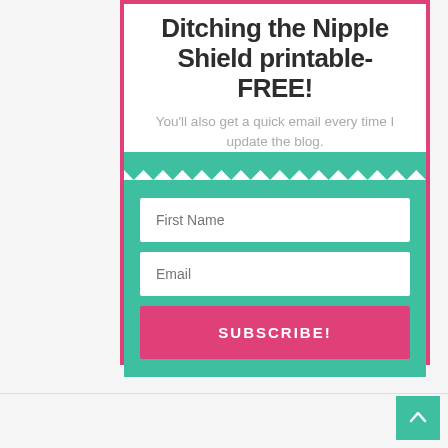Ditching the Nipple Shield printable- FREE!
You'll also get a quick email every time I update the blog.
[Figure (infographic): Email subscription form with zigzag teal divider, First Name input, Email input, and pink SUBSCRIBE! button inside a pink-bordered card]
[Figure (other): Back to top button (teal square with upward arrow)]